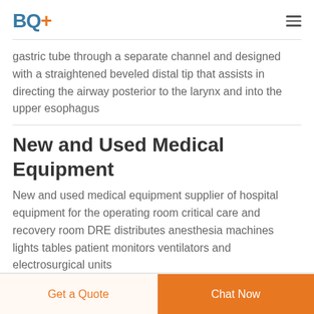BQ+
gastric tube through a separate channel and designed with a straightened beveled distal tip that assists in directing the airway posterior to the larynx and into the upper esophagus
New and Used Medical Equipment
New and used medical equipment supplier of hospital equipment for the operating room critical care and recovery room DRE distributes anesthesia machines lights tables patient monitors ventilators and electrosurgical units
Get a Quote  Chat Now